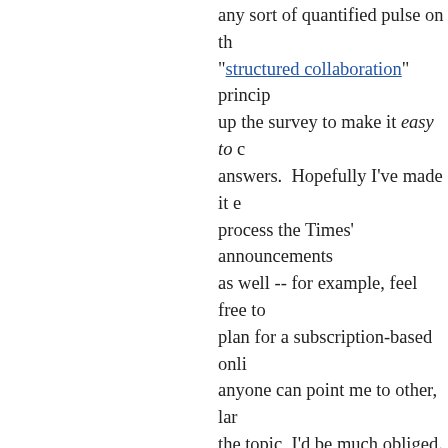any sort of quantified pulse on th... "structured collaboration" princip... up the survey to make it easy to ... answers.  Hopefully I've made it e... process the Times' announcement as well -- for example, feel free to... plan for a subscription-based onli... anyone can point me to other, lar... the topic, I'd be much obliged.
The broader utility of structuring t... perhaps greatest to media firms t... content targeting value, and perh... of simple databases like this, it be... complex queries across them, an... interesting, original editorial poss...
Briefly considered, then rejected ... personalized pricing offers to sub... on how you respond to the surve...